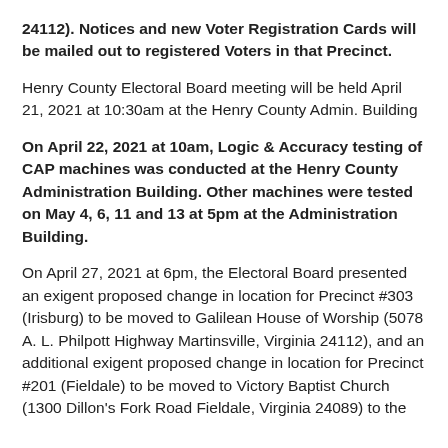24112). Notices and new Voter Registration Cards will be mailed out to registered Voters in that Precinct.
Henry County Electoral Board meeting will be held April 21, 2021 at 10:30am at the Henry County Admin. Building
On April 22, 2021 at 10am, Logic & Accuracy testing of CAP machines was conducted at the Henry County Administration Building. Other machines were tested on May 4, 6, 11 and 13 at 5pm at the Administration Building.
On April 27, 2021 at 6pm, the Electoral Board presented an exigent proposed change in location for Precinct #303 (Irisburg) to be moved to Galilean House of Worship (5078 A. L. Philpott Highway Martinsville, Virginia 24112), and an additional exigent proposed change in location for Precinct #201 (Fieldale) to be moved to Victory Baptist Church (1300 Dillon's Fork Road Fieldale, Virginia 24089) to the